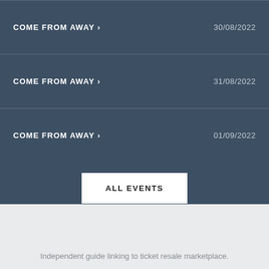COME FROM AWAY › 30/08/2022
COME FROM AWAY › 31/08/2022
COME FROM AWAY › 01/09/2022
ALL EVENTS
Independent guide linking to ticket resale marketplace.